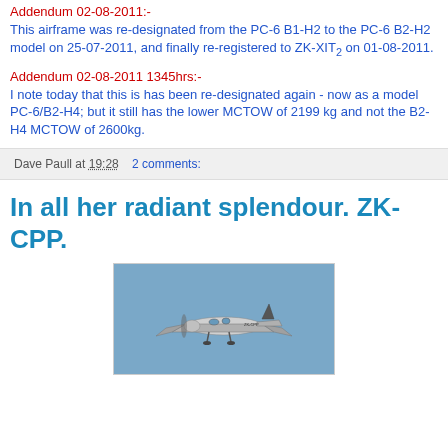Addendum 02-08-2011:-
This airframe was re-designated from the PC-6 B1-H2 to the PC-6 B2-H2 model on 25-07-2011, and finally re-registered to ZK-XIT₂ on 01-08-2011.
Addendum 02-08-2011 1345hrs:-
I note today that this is has been re-designated again - now as a model PC-6/B2-H4; but it still has the lower MCTOW of 2199 kg and not the B2-H4 MCTOW of 2600kg.
Dave Paull at 19:28    2 comments:
In all her radiant splendour. ZK-CPP.
[Figure (photo): Photograph of a small aircraft (ZK-CPP) in flight against a blue sky, viewed from below/side showing wings and fuselage.]